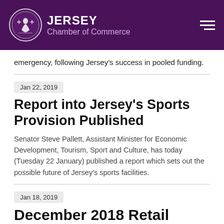JERSEY Chamber of Commerce
emergency, following Jersey's success in pooled funding.
Jan 22, 2019
Report into Jersey's Sports Provision Published
Senator Steve Pallett, Assistant Minister for Economic Development, Tourism, Sport and Culture, has today (Tuesday 22 January) published a report which sets out the possible future of Jersey's sports facilities.
Jan 18, 2019
December 2018 Retail Prices Index